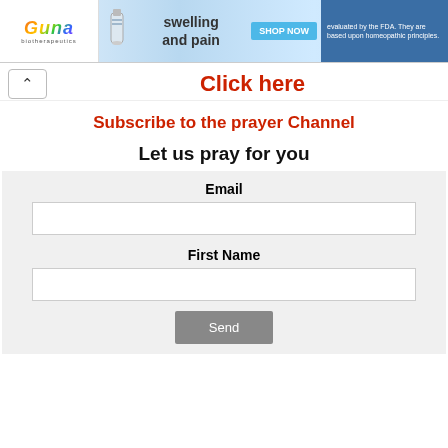[Figure (other): Advertisement banner for Guna biotherapeutics product — shows logo, product bottle image, text about swelling and pain, SHOP NOW button, and FDA disclaimer]
Click here
Subscribe to the prayer Channel
Let us pray for you
Email
First Name
Send